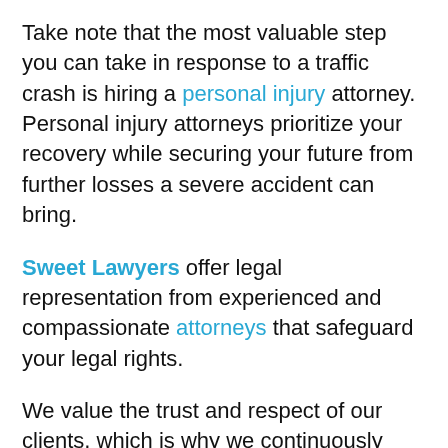Take note that the most valuable step you can take in response to a traffic crash is hiring a personal injury attorney. Personal injury attorneys prioritize your recovery while securing your future from further losses a severe accident can bring.
Sweet Lawyers offer legal representation from experienced and compassionate attorneys that safeguard your legal rights.
We value the trust and respect of our clients, which is why we continuously fight to hold liable parties accountable and award our clients the compensation they deserve.
With Sweet Lawyers, you will be provided with personalized assistance, aggressive representation, and compassion throughout the entire process.